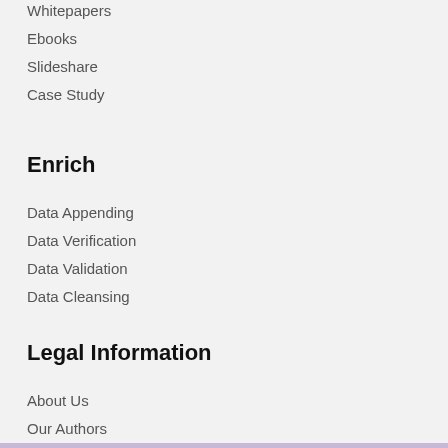Whitepapers
Ebooks
Slideshare
Case Study
Enrich
Data Appending
Data Verification
Data Validation
Data Cleansing
Legal Information
About Us
Our Authors